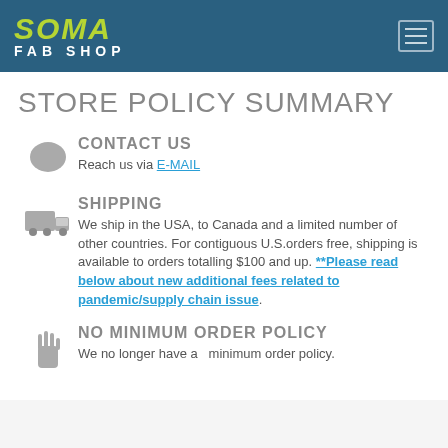SOMA FAB SHOP
STORE POLICY SUMMARY
CONTACT US
Reach us via E-MAIL
SHIPPING
We ship in the USA, to Canada and a limited number of other countries. For contiguous U.S.orders free, shipping is available to orders totalling $100 and up. **Please read below about new additional fees related to pandemic/supply chain issue.
NO MINIMUM ORDER POLICY
We no longer have a  minimum order policy.